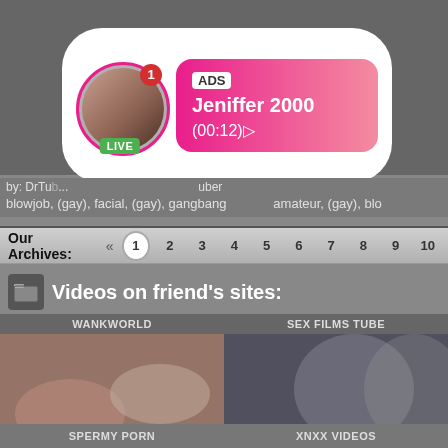[Figure (screenshot): Adult website screenshot showing an overlay ad for 'Jeniffer 2000' live stream with avatar, LIVE badge, timer (00:12), archives pagination bar, and friend site video thumbnails labeled WANKWORLD, SEX FILMS TUBE, SPERMY PORN, XNXX VIDEOS]
ADS
Jeniffer 2000
(00:12)
LIVE
by: DrTu... uber
blowjob, (gay), facial, (gay), gangbang   amateur, (gay), blo...
Our Archives:  «  1  2  3  4  5  6  7  8  9  10
Videos on friend's sites:
WANKWORLD
SEX FILMS TUBE
SPERMY PORN
XNXX VIDEOS